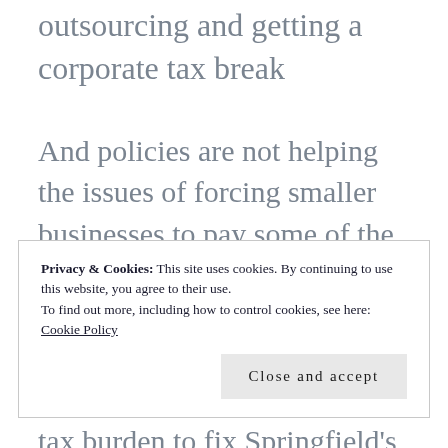outsourcing and getting a corporate tax break
And policies are not helping the issues of forcing smaller businesses to pay some of the highest property taxes in the nation, the highest workers' compensation costs in the region or raising the overall tax burden to fix Springfield's spending problems.
Privacy & Cookies: This site uses cookies. By continuing to use this website, you agree to their use.
To find out more, including how to control cookies, see here:
Cookie Policy
Close and accept